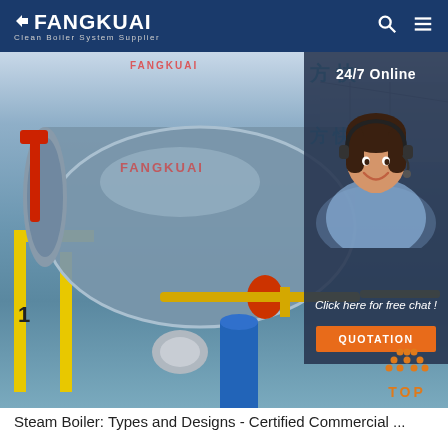FANGKUAI - Clean Boiler System Supplier
[Figure (photo): Industrial steam boiler by Fangkuai showing a large cylindrical grey boiler unit with yellow support frame, piping, and control panel in an industrial facility. Overlay panel on right shows a customer service representative with headset, '24/7 Online' text, 'Click here for free chat!' label, and an orange QUOTATION button. Orange/red TOP button with triangle icon at bottom right.]
Steam Boiler: Types and Designs - Certified Commercial ...